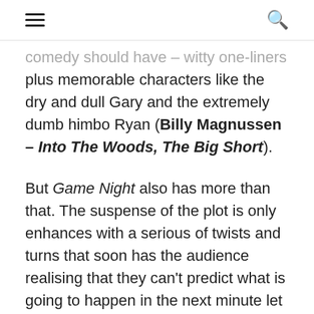≡  🔍
comedy should have – witty one-liners plus memorable characters like the dry and dull Gary and the extremely dumb himbo Ryan (Billy Magnussen – Into The Woods, The Big Short).
But Game Night also has more than that. The suspense of the plot is only enhances with a serious of twists and turns that soon has the audience realising that they can't predict what is going to happen in the next minute let alone for the rest of the film. The fact that Perez is smart enough to have Max almost narrate what some would